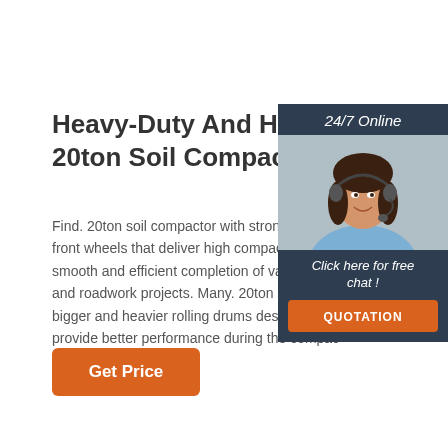Heavy-Duty And High-Performance 20ton Soil Compactor
Find. 20ton soil compactor with strong-grade materials and front wheels that deliver high compacting efficiency for smooth and efficient completion of varying construction and roadwork projects. Many. 20ton soil compactors have bigger and heavier rolling drums designed specially to provide better performance during the compacting process.
[Figure (infographic): Side panel showing woman with headset, 24/7 Online label, Click here for free chat text, and QUOTATION orange button]
Get Price